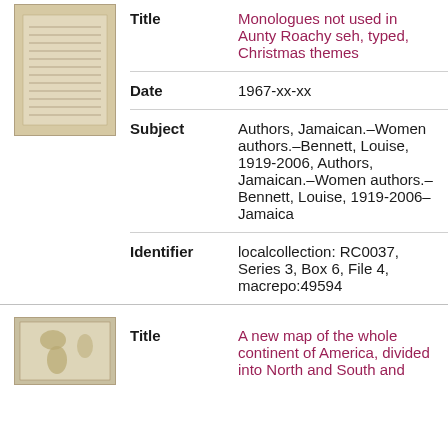[Figure (photo): Thumbnail image of a handwritten or typed document page, sepia/tan toned]
| Title | Monologues not used in Aunty Roachy seh, typed, Christmas themes |
| Date | 1967-xx-xx |
| Subject | Authors, Jamaican.–Women authors.–Bennett, Louise, 1919-2006, Authors, Jamaican.–Women authors.–Bennett, Louise, 1919-2006–Jamaica |
| Identifier | localcollection: RC0037, Series 3, Box 6, File 4, macrepo:49594 |
[Figure (photo): Thumbnail image of a map showing the Americas, faded/historic style]
| Title | A new map of the whole continent of America, divided into North and South and |